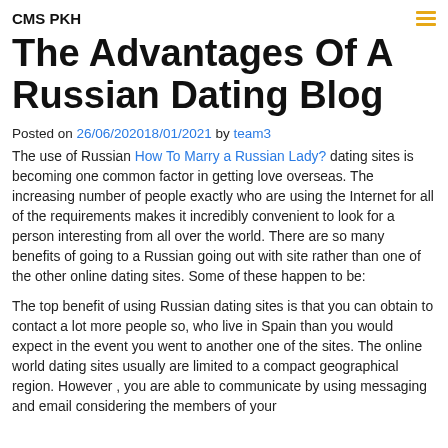CMS PKH
The Advantages Of A Russian Dating Blog
Posted on 26/06/202018/01/2021 by team3
The use of Russian How To Marry a Russian Lady? dating sites is becoming one common factor in getting love overseas. The increasing number of people exactly who are using the Internet for all of the requirements makes it incredibly convenient to look for a person interesting from all over the world. There are so many benefits of going to a Russian going out with site rather than one of the other online dating sites. Some of these happen to be:
The top benefit of using Russian dating sites is that you can obtain to contact a lot more people so, who live in Spain than you would expect in the event you went to another one of the sites. The online world dating sites usually are limited to a compact geographical region. However , you are able to communicate by using messaging and email considering the members of your